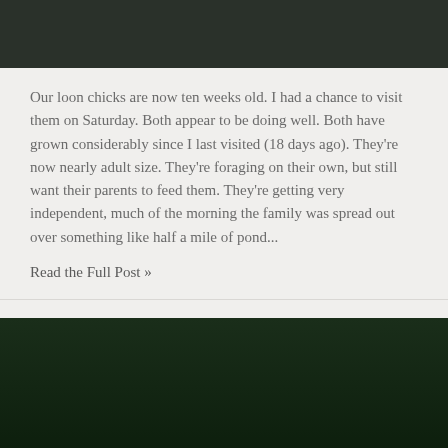[Figure (photo): Dark forested background photo at top of page]
Our loon chicks are now ten weeks old. I had a chance to visit them on Saturday. Both appear to be doing well. Both have grown considerably since I last visited (18 days ago). They're now nearly adult size. They're foraging on their own, but still want their parents to feed them. They're getting very independent, much of the morning the family was spread out over something like half a mile of pond...
Read the Full Post »
Checking In With The Loons, August 4, 2021
August 04, 2021
Leave a Comment
[Figure (photo): Dark forested background photo at bottom of page]